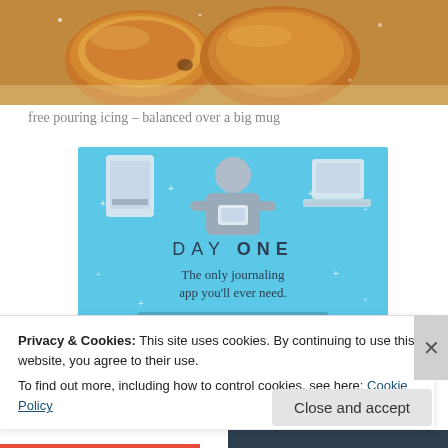[Figure (photo): Close-up photo of golden-brown pastries/donuts in a basket with parchment paper, warm tones]
free pouring icing – balanced over a big mug
[Figure (illustration): Day One journaling app advertisement banner. Light blue background with illustration of person holding phone between two devices. Text reads: DAY ONE - The only journaling app you'll ever need.]
Privacy & Cookies: This site uses cookies. By continuing to use this website, you agree to their use.
To find out more, including how to control cookies, see here: Cookie Policy
Close and accept